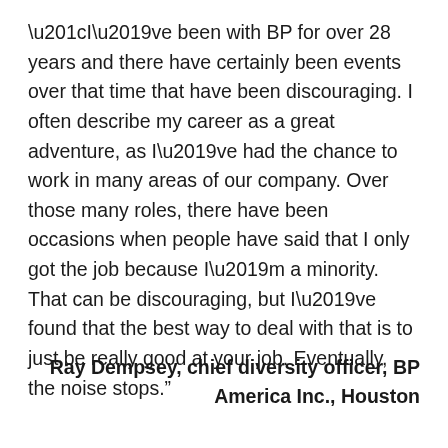“I’ve been with BP for over 28 years and there have certainly been events over that time that have been discouraging. I often describe my career as a great adventure, as I’ve had the chance to work in many areas of our company. Over those many roles, there have been occasions when people have said that I only got the job because I’m a minority. That can be discouraging, but I’ve found that the best way to deal with that is to just be really good at your job. Eventually, the noise stops.”
Ray Dempsey, chief diversity officer, BP America Inc., Houston